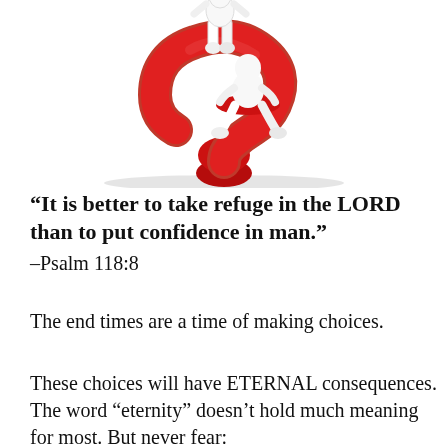[Figure (illustration): A 3D white figurine sitting on top of a large red question mark symbol against a white background.]
“It is better to take refuge in the LORD than to put confidence in man.” –Psalm 118:8
The end times are a time of making choices.
These choices will have ETERNAL consequences. The word “eternity” doesn’t hold much meaning for most. But never fear: